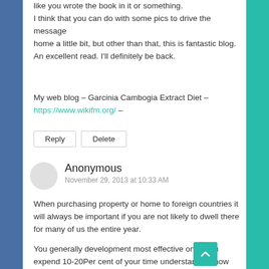like you wrote the book in it or something. I think that you can do with some pics to drive the message home a little bit, but other than that, this is fantastic blog. An excellent read. I'll definitely be back.
My web blog – Garcinia Cambogia Extract Diet – https://www.wikifm.org/ –
Reply
Delete
Anonymous
November 29, 2013 at 10:33 AM
When purchasing property or home to foreign countries it will always be important if you are not likely to dwell there for many of us the entire year.
You generally development most effective once you expend 10-20Per cent of your time understanding how we find out and checking the